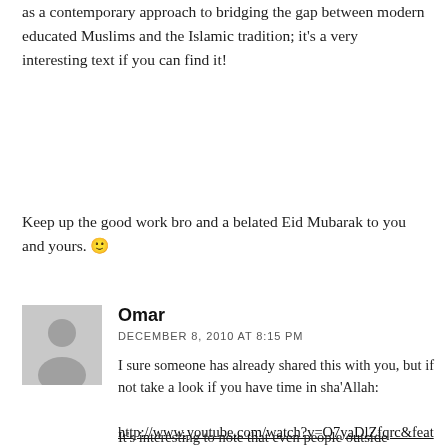as a contemporary approach to bridging the gap between modern educated Muslims and the Islamic tradition; it's a very interesting text if you can find it!
Keep up the good work bro and a belated Eid Mubarak to you and yours. 🙂
Omar
DECEMBER 8, 2010 AT 8:15 PM
I sure someone has already shared this with you, but if not take a look if you have time in sha'Allah:
http://www.youtube.com/watch?v=O7yaDlZfqrc&feature=player_embedded#!
It's interesting to note that even people outside